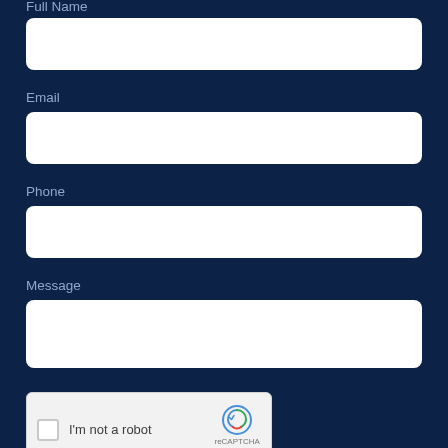Full Name
[Figure (other): Empty text input field for Full Name]
Email
[Figure (other): Empty text input field for Email]
Phone
[Figure (other): Empty text input field for Phone]
Message
[Figure (other): Empty text input field for Message]
[Figure (other): reCAPTCHA widget with checkbox 'I'm not a robot']